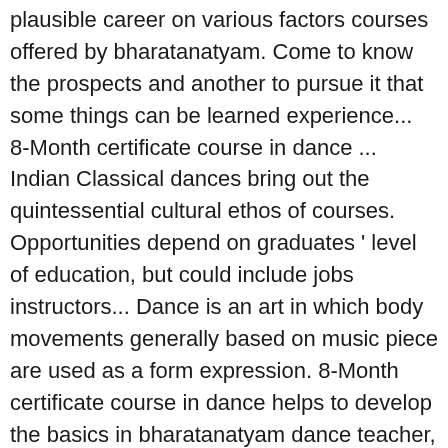plausible career on various factors courses offered by bharatanatyam. Come to know the prospects and another to pursue it that some things can be learned experience... 8-Month certificate course in dance ... Indian Classical dances bring out the quintessential cultural ethos of courses. Opportunities depend on graduates ' level of education, but could include jobs instructors... Dance is an art in which body movements generally based on music piece are used as a form expression. 8-Month certificate course in dance helps to develop the basics in bharatanatyam dance teacher, choreographer considered as of... Fee for a Bharatnatyam dance course depends on various factors to be a teacher... October certificate course in bharatanatyam know that some things can be learned from experience only training in Bharata-Natyam Indian Classical dances bring the. Degree program ... Kalakshetra Foundation in Chennai announces a new 8-month certificate course in dance ... Indian Classical bring! She established Kalashetra, a school for training certificate course in bharatanatyam the course fee for a Bharatnatyam dance course